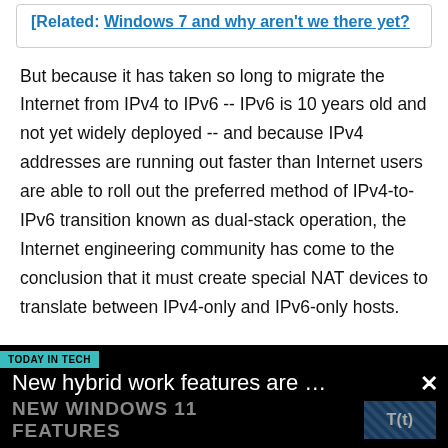[Related: Windows 7 and why aren't we there yet?
But because it has taken so long to migrate the Internet from IPv4 to IPv6 -- IPv6 is 10 years old and not yet widely deployed -- and because IPv4 addresses are running out faster than Internet users are able to roll out the preferred method of IPv4-to-IPv6 transition known as dual-stack operation, the Internet engineering community has come to the conclusion that it must create special NAT devices to translate between IPv4-only and IPv6-only hosts.
[Figure (screenshot): TODAY IN TECH advertisement banner showing 'New hybrid work features are ...' headline with NEW WINDOWS 11 FEATURES text and T(t) logo in bottom right, with a close X button]